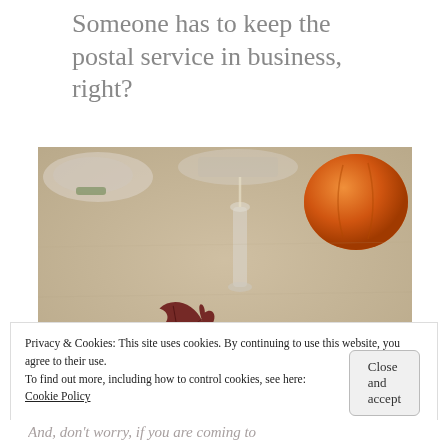Someone has to keep the postal service in business, right?
[Figure (photo): Close-up photo of a table surface with a dark red maple leaf in the foreground, a small glass candleholder in the middle, and an orange pumpkin in the background, with blurred tableware visible.]
Privacy & Cookies: This site uses cookies. By continuing to use this website, you agree to their use.
To find out more, including how to control cookies, see here:
Cookie Policy
And, don't worry, if you are coming to